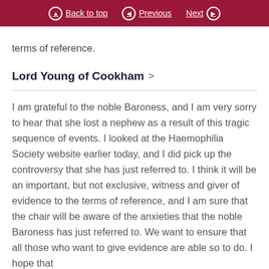Back to top | Previous | Next
terms of reference.
Lord Young of Cookham
I am grateful to the noble Baroness, and I am very sorry to hear that she lost a nephew as a result of this tragic sequence of events. I looked at the Haemophilia Society website earlier today, and I did pick up the controversy that she has just referred to. I think it will be an important, but not exclusive, witness and giver of evidence to the terms of reference, and I am sure that the chair will be aware of the anxieties that the noble Baroness has just referred to. We want to ensure that all those who want to give evidence are able so to do. I hope that